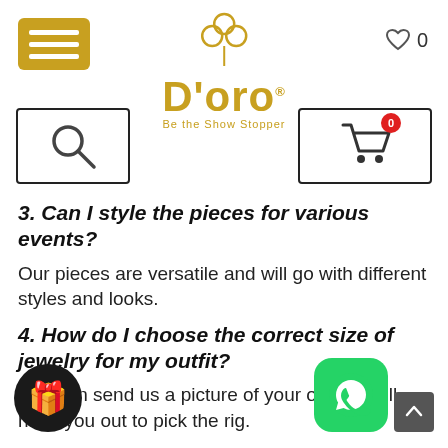[Figure (logo): D'oro jewelry brand logo with decorative flower/clover icon above the text and tagline 'Be the Show Stopper']
3. Can I style the pieces for various events?
Our pieces are versatile and will go with different styles and looks.
4. How do I choose the correct size of jewelry for my outfit?
You can send us a picture of your outfit our team will have you out to pick the right one.